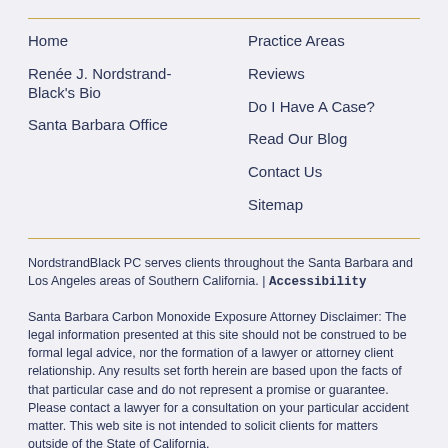Home
Renée J. Nordstrand-Black's Bio
Santa Barbara Office
Practice Areas
Reviews
Do I Have A Case?
Read Our Blog
Contact Us
Sitemap
NordstrandBlack PC serves clients throughout the Santa Barbara and Los Angeles areas of Southern California. | Accessibility
Santa Barbara Carbon Monoxide Exposure Attorney Disclaimer: The legal information presented at this site should not be construed to be formal legal advice, nor the formation of a lawyer or attorney client relationship. Any results set forth herein are based upon the facts of that particular case and do not represent a promise or guarantee. Please contact a lawyer for a consultation on your particular accident matter. This web site is not intended to solicit clients for matters outside of the State of California.